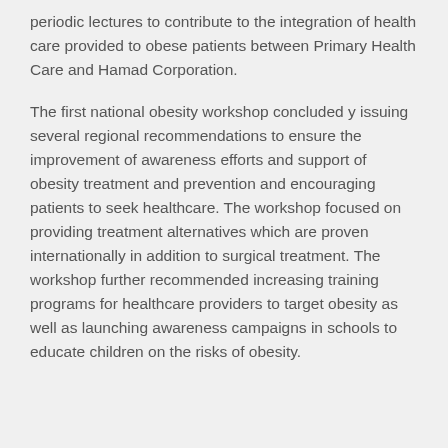periodic lectures to contribute to the integration of health care provided to obese patients between Primary Health Care and Hamad Corporation.
The first national obesity workshop concluded y issuing several regional recommendations to ensure the improvement of awareness efforts and support of obesity treatment and prevention and encouraging patients to seek healthcare. The workshop focused on providing treatment alternatives which are proven internationally in addition to surgical treatment. The workshop further recommended increasing training programs for healthcare providers to target obesity as well as launching awareness campaigns in schools to educate children on the risks of obesity.